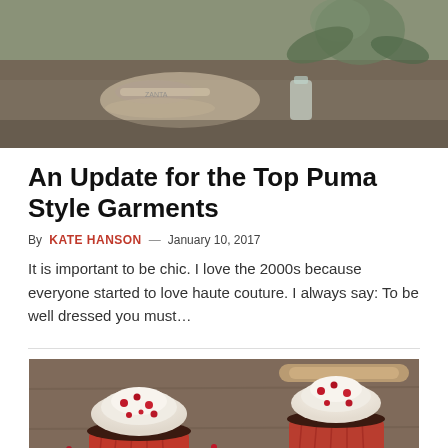[Figure (photo): Flat lay photo of shoes and flowers on a wooden surface]
An Update for the Top Puma Style Garments
By KATE HANSON — January 10, 2017
It is important to be chic. I love the 2000s because everyone started to love haute couture. I always say: To be well dressed you must...
[Figure (photo): Red velvet cupcakes with white cream frosting and pomegranate seeds on a wooden board]